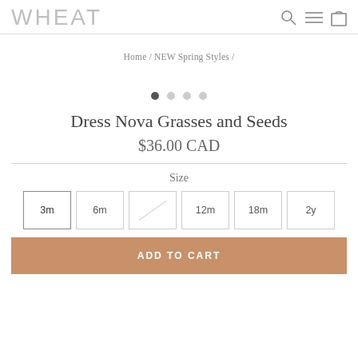WHEAT
Home / NEW Spring Styles /
[Figure (other): Carousel pagination dots, 4 dots with first dot active/dark]
Dress Nova Grasses and Seeds
$36.00 CAD
Size
3m  6m  [unavailable]  12m  18m  2y
ADD TO CART